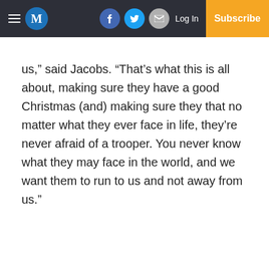M  [Facebook] [Twitter] [Email]  Log In  Subscribe
us,” said Jacobs. “That’s what this is all about, making sure they have a good Christmas (and) making sure they that no matter what they ever face in life, they’re never afraid of a trooper. You never know what they may face in the world, and we want them to run to us and not away from us.”